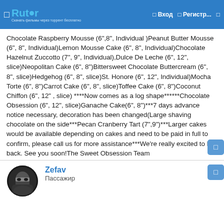Rutor — Вход — Регистр...
Chocolate Raspberry Mousse (6",8", Individual )Peanut Butter Mousse (6", 8", Individual)Lemon Mousse Cake (6", 8", Individual)Chocolate Hazelnut Zuccotto (7", 9", Individual),Dulce De Leche (6", 12", slice)Neopolitan Cake (6", 8")Bittersweet Chocolate Buttercream (6", 8", slice)Hedgehog (6", 8", slice)St. Honore (6", 12", Individual)Mocha Torte (6", 8")Carrot Cake (6", 8", slice)Toffee Cake (6", 8")Coconut Chiffon (6", 12" , slice) ****Now comes as a log shape******Chocolate Obsession (6", 12", slice)Ganache Cake(6", 8")***7 days advance notice necessary, decoration has been changed(Large shaving chocolate on the side***Pecan Cranberry Tart (7",9")***Larger cakes would be available depending on cakes and need to be paid in full to confirm, please call us for more assistance***We're really excited to be back. See you soon!The Sweet Obsession Team
Zefav
Пассажир